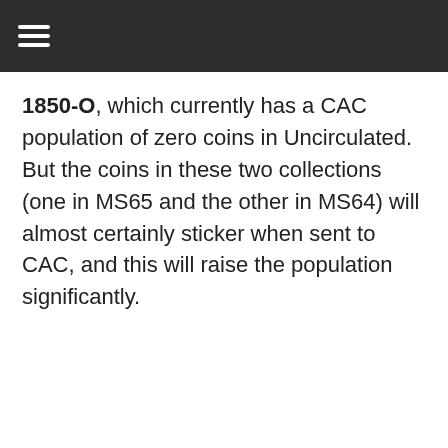☰
1850-O, which currently has a CAC population of zero coins in Uncirculated. But the coins in these two collections (one in MS65 and the other in MS64) will almost certainly sticker when sent to CAC, and this will raise the population significantly.